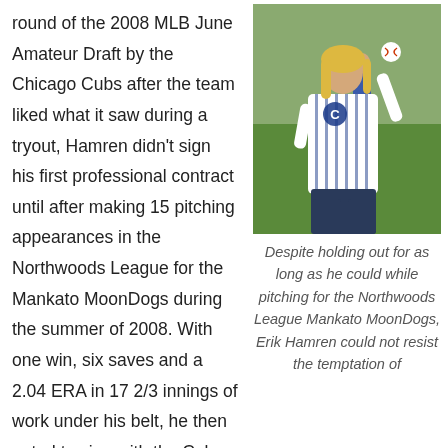round of the 2008 MLB June Amateur Draft by the Chicago Cubs after the team liked what it saw during a tryout, Hamren didn't sign his first professional contract until after making 15 pitching appearances in the Northwoods League for the Mankato MoonDogs during the summer of 2008. With one win, six saves and a 2.04 ERA in 17 2/3 innings of work under his belt, he then opted to sign with the Cubs. Hamren made three stops in the Chicago Cubs farm
[Figure (photo): A blonde woman wearing a Chicago Cubs pinstripe jersey holding a baseball up, standing on a baseball field with green grass in the background.]
Despite holding out for as long as he could while pitching for the Northwoods League Mankato MoonDogs, Erik Hamren could not resist the temptation of